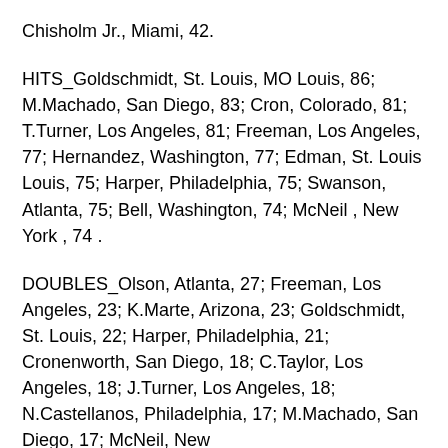Chisholm Jr., Miami, 42.
HITS_Goldschmidt, St. Louis, MO Louis, 86; M.Machado, San Diego, 83; Cron, Colorado, 81; T.Turner, Los Angeles, 81; Freeman, Los Angeles, 77; Hernandez, Washington, 77; Edman, St. Louis Louis, 75; Harper, Philadelphia, 75; Swanson, Atlanta, 75; Bell, Washington, 74; McNeil , New York , 74 .
DOUBLES_Olson, Atlanta, 27; Freeman, Los Angeles, 23; K.Marte, Arizona, 23; Goldschmidt, St. Louis, 22; Harper, Philadelphia, 21; Cronenworth, San Diego, 18; C.Taylor, Los Angeles, 18; J.Turner, Los Angeles, 18; N.Castellanos, Philadelphia, 17; M.Machado, San Diego, 17; McNeil, New